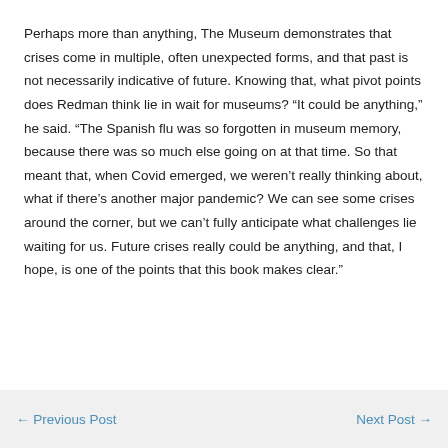Perhaps more than anything, The Museum demonstrates that crises come in multiple, often unexpected forms, and that past is not necessarily indicative of future. Knowing that, what pivot points does Redman think lie in wait for museums? “It could be anything,” he said. “The Spanish flu was so forgotten in museum memory, because there was so much else going on at that time. So that meant that, when Covid emerged, we weren’t really thinking about, what if there’s another major pandemic? We can see some crises around the corner, but we can’t fully anticipate what challenges lie waiting for us. Future crises really could be anything, and that, I hope, is one of the points that this book makes clear.”
← Previous Post    Next Post →